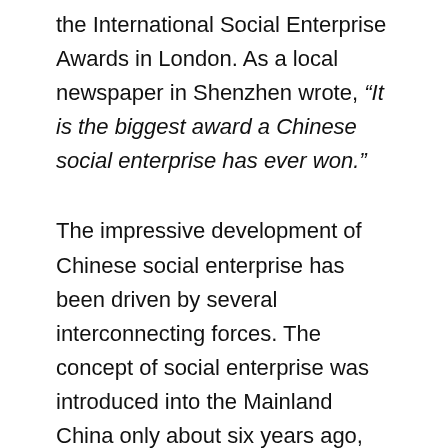the International Social Enterprise Awards in London. As a local newspaper in Shenzhen wrote, “It is the biggest award a Chinese social enterprise has ever won.”
The impressive development of Chinese social enterprise has been driven by several interconnecting forces. The concept of social enterprise was introduced into the Mainland China only about six years ago, and it was soon applauded and practiced by innovators and “early adopters” in the non-profit sector. Considering the shoestring operation of local NGOs, in particular against the backdrop of global financial crisis, it is